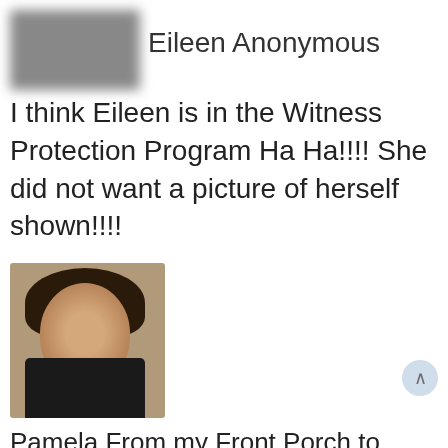[Figure (photo): Blurred/obscured profile photo of Eileen Anonymous]
Eileen Anonymous
I think Eileen is in the Witness Protection Program Ha Ha!!!! She did not want a picture of herself shown!!!!
[Figure (photo): Profile photo of Pamela – a woman with short dark hair, smiling, in a room setting]
Pamela From my Front Porch to Yours
http://www.frommyfrontporchtoyours.com/